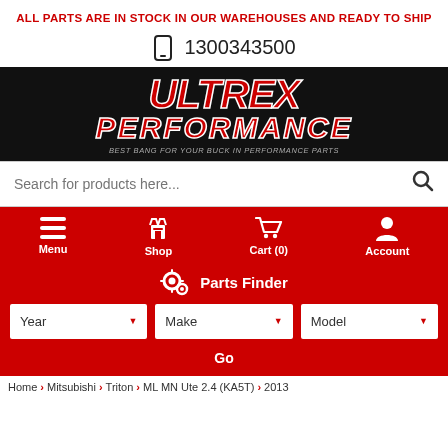ALL PARTS ARE IN STOCK IN OUR WAREHOUSES AND READY TO SHIP
1300343500
[Figure (logo): Ultrex Performance logo - red text on black background with tagline BEST BANG FOR YOUR BUCK IN PERFORMANCE PARTS]
Search for products here...
Menu  Shop  Cart (0)  Account
Parts Finder
Year  Make  Model
Go
Home > Mitsubishi > Triton > ML MN Ute 2.4 (KA5T) > 2013